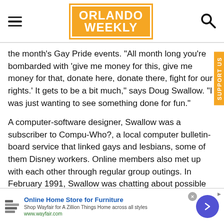Orlando Weekly
the month's Gay Pride events. "All month long you're bombarded with 'give me money for this, give me money for that, donate here, donate there, fight for our rights.' It gets to be a bit much," says Doug Swallow. "I was just wanting to see something done for fun."
A computer-software designer, Swallow was a subscriber to Compu-Who?, a local computer bulletin-board service that linked gays and lesbians, some of them Disney workers. Online members also met up with each other through regular group outings. In February 1991, Swallow was chatting about possible events with others online when
[Figure (infographic): Advertisement banner for Wayfair Online Home Store for Furniture with logo, tagline 'Shop Wayfair for A Zillion Things Home across all styles', URL www.wayfair.com, and a forward arrow button]